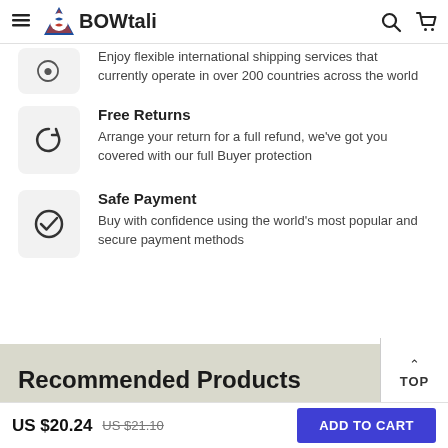BOWtali
Enjoy flexible international shipping services that currently operate in over 200 countries across the world
Free Returns
Arrange your return for a full refund, we've got you covered with our full Buyer protection
Safe Payment
Buy with confidence using the world's most popular and secure payment methods
Recommended Products
US $20.24  US $21.10  ADD TO CART